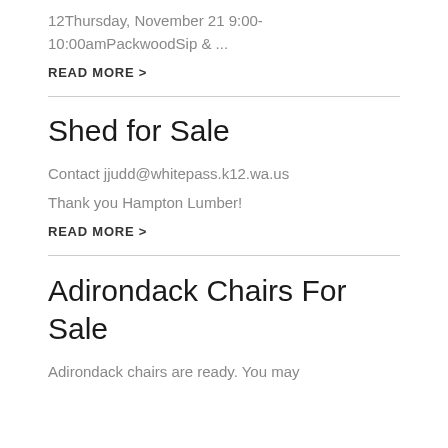12Thursday, November 21 9:00-10:00amPackwoodSip & ...
READ MORE >
Shed for Sale
Contact jjudd@whitepass.k12.wa.us
Thank you Hampton Lumber!
READ MORE >
Adirondack Chairs For Sale
Adirondack chairs are ready. You may